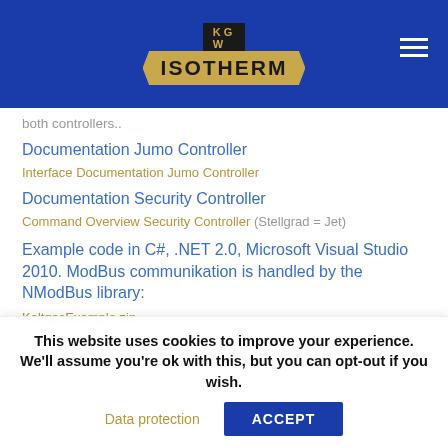KGW ISOTHERM
both controllers..
Documentation Jumo Controller
Interface Documentation Jumo Controller
Documentation Security Controller
Command Overview Security Controller (Stellgrad = Jet)
Example code in C#, .NET 2.0, Microsoft Visual Studio 2010. ModBus communikation is handled by the NModBus library:
KaltgasExample.zip
General ModBus communication is documented in the interface
This website uses cookies to improve your experience. We'll assume you're ok with this, but you can opt-out if you wish.
Data protection
ACCEPT